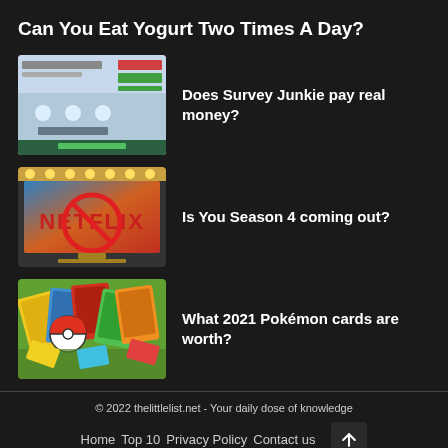Can You Eat Yogurt Two Times A Day?
[Figure (screenshot): Survey Junkie website screenshot showing 'Take Surveys. Get Paid.' banner with green and blue interface elements]
Does Survey Junkie pay real money?
[Figure (photo): Netflix logo with a red prohibition sign overlaid on a TV screen with stage lights above]
Is You Season 4 coming out?
[Figure (photo): Colorful Pokemon trading cards spread out on a surface]
What 2021 Pokémon cards are worth?
© 2022 thelittlelist.net - Your daily dose of knowledge
Home   Top 10   Privacy Policy   Contact us